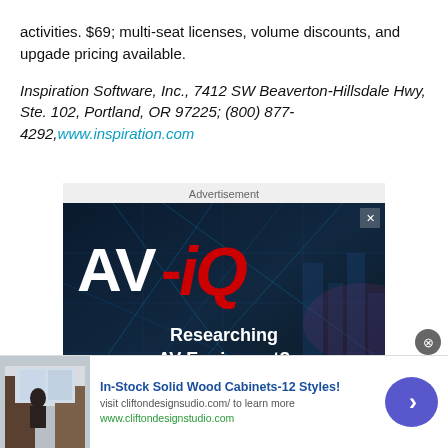activities. $69; multi-seat licenses, volume discounts, and upgade pricing available.
Inspiration Software, Inc., 7412 SW Beaverton-Hillsdale Hwy, Ste. 102, Portland, OR 97225; (800) 877-4292, www.inspiration.com
[Figure (other): AV-iQ advertisement banner with tech background. Logo shows 'AV-iQ' in white and red. Tagline: 'Researching AV Equipment?']
[Figure (other): Bottom banner ad for Clifton Design Studio showing wood cabinets. Title: 'In-Stock Solid Wood Cabinets-12 Styles!' with link www.cliftondesignstudio.com]